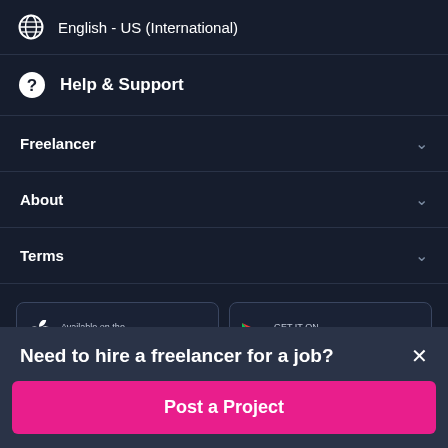English - US (International)
Help & Support
Freelancer
About
Terms
[Figure (screenshot): App store buttons: Available on the App Store and GET IT ON Google Play]
Need to hire a freelancer for a job?
Post a Project